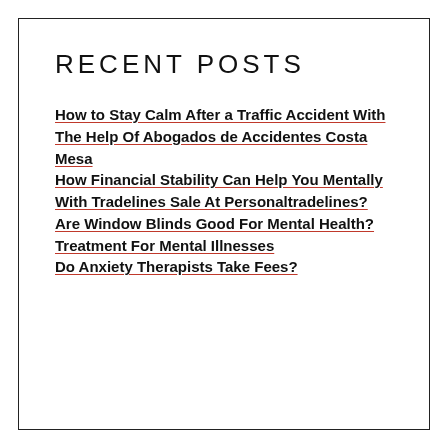RECENT POSTS
How to Stay Calm After a Traffic Accident With The Help Of Abogados de Accidentes Costa Mesa
How Financial Stability Can Help You Mentally With Tradelines Sale At Personaltradelines?
Are Window Blinds Good For Mental Health?
Treatment For Mental Illnesses
Do Anxiety Therapists Take Fees?